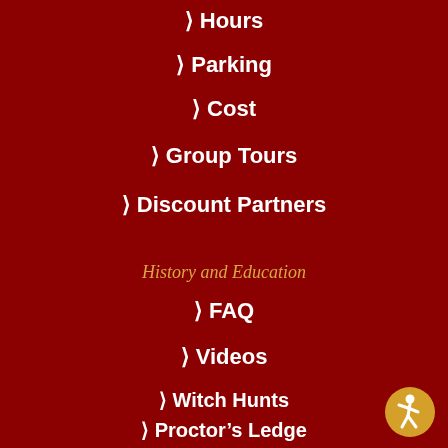> Hours
> Parking
> Cost
> Group Tours
> Discount Partners
History and Education
> FAQ
> Videos
> Witch Hunts
> Proctor's Ledge
[Figure (illustration): Accessibility icon: circular yellow badge with a white person figure in motion]